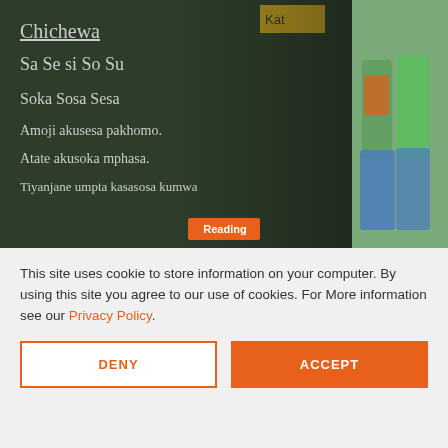[Figure (photo): A woman pointing at a chalkboard with Chichewa writing: 'Chichewa / Sa Se Si So Su / Soka Sosa Sesa / Amoji akusesa pakhomo. / Atate akusoka mphasa. / Tiyanjane umpta kasasosa kumwa...' with a 'Reading' badge overlay. A second partial photo shows students in orange and blue uniforms.]
Learning from home: Parents in Malawi
Ministe
This site uses cookie to store information on your computer. By using this site you agree to our use of cookies. For More information see our Privacy Policy.
DENY
ACCEPT